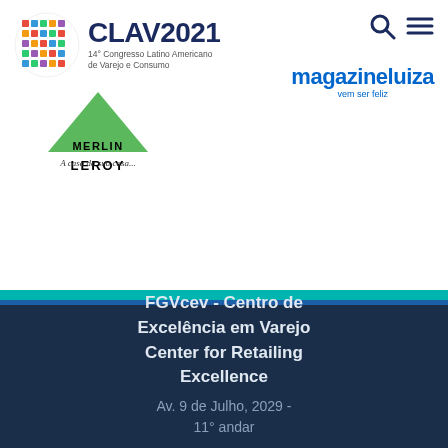[Figure (logo): CLAV 2021 - 14° Congresso Latino Americano de Varejo e Consumo logo with colorful circle icon]
[Figure (logo): Leroy Merlin logo with green triangle and tagline 'A casa da sua casa']
[Figure (logo): Magazine Luiza logo with tagline 'vem ser feliz']
[Figure (illustration): Search (Q) and hamburger menu (≡) navigation icons]
FGVcev - Centro de Excelência em Varejo Center for Retailing Excellence
Av. 9 de Julho, 2029 - 11° andar